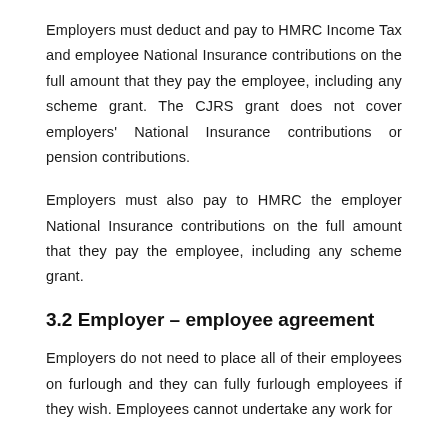Employers must deduct and pay to HMRC Income Tax and employee National Insurance contributions on the full amount that they pay the employee, including any scheme grant. The CJRS grant does not cover employers' National Insurance contributions or pension contributions.
Employers must also pay to HMRC the employer National Insurance contributions on the full amount that they pay the employee, including any scheme grant.
3.2 Employer – employee agreement
Employers do not need to place all of their employees on furlough and they can fully furlough employees if they wish. Employees cannot undertake any work for